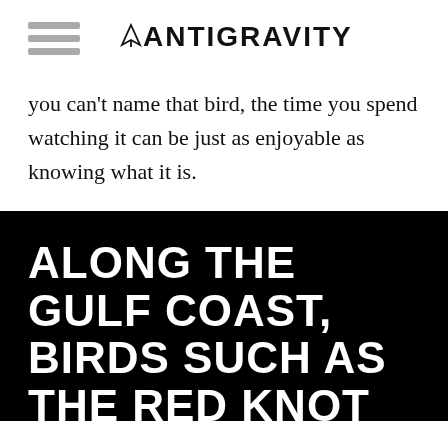ANTIGRAVITY
you can't name that bird, the time you spend watching it can be just as enjoyable as knowing what it is.
[Figure (infographic): Black background pull quote card with large white bold uppercase text reading: ALONG THE GULF COAST, BIRDS SUCH AS THE RED KNOT TRAVEL FROM THE [continues off page]]